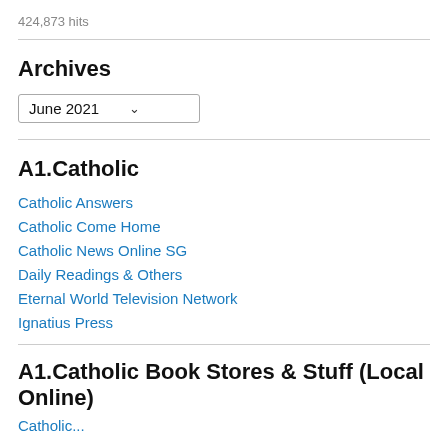424,873 hits
Archives
June 2021
A1.Catholic
Catholic Answers
Catholic Come Home
Catholic News Online SG
Daily Readings & Others
Eternal World Television Network
Ignatius Press
A1.Catholic Book Stores & Stuff (Local Online)